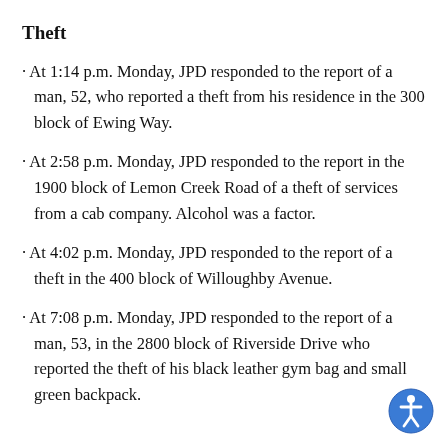Theft
· At 1:14 p.m. Monday, JPD responded to the report of a man, 52, who reported a theft from his residence in the 300 block of Ewing Way.
· At 2:58 p.m. Monday, JPD responded to the report in the 1900 block of Lemon Creek Road of a theft of services from a cab company. Alcohol was a factor.
· At 4:02 p.m. Monday, JPD responded to the report of a theft in the 400 block of Willoughby Avenue.
· At 7:08 p.m. Monday, JPD responded to the report of a man, 53, in the 2800 block of Riverside Drive who reported the theft of his black leather gym bag and small green backpack.